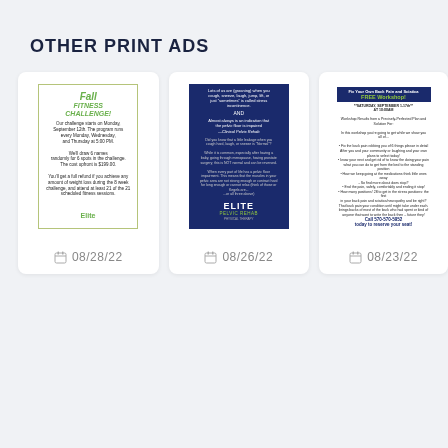OTHER PRINT ADS
[Figure (other): Fall Fitness Challenge print ad thumbnail - green and white ad with Elite branding]
08/28/22
[Figure (other): Elite Pelvic Rehab print ad thumbnail - dark blue background with white and green text]
08/26/22
[Figure (other): Fix Your Own Back Pain and Sciatica FREE Workshop print ad thumbnail - blue header]
08/23/22